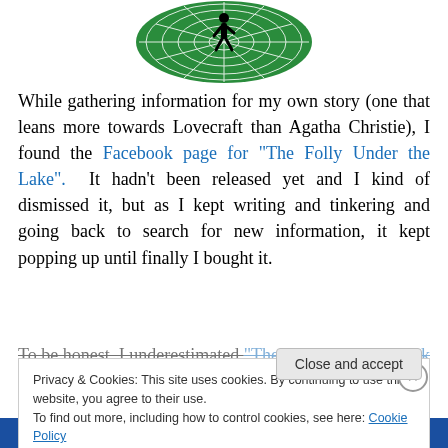[Figure (logo): Green oval logo with spider-web pattern and black figure falling, on white background]
While gathering information for my own story (one that leans more towards Lovecraft than Agatha Christie), I found the Facebook page for “The Folly Under the Lake”.  It hadn't been released yet and I kind of dismissed it, but as I kept writing and tinkering and going back to search for new information, it kept popping up until finally I bought it.
To be honest, I underestimated “The Folly Under the Lake”
Privacy & Cookies: This site uses cookies. By continuing to use this website, you agree to their use.
To find out more, including how to control cookies, see here: Cookie Policy